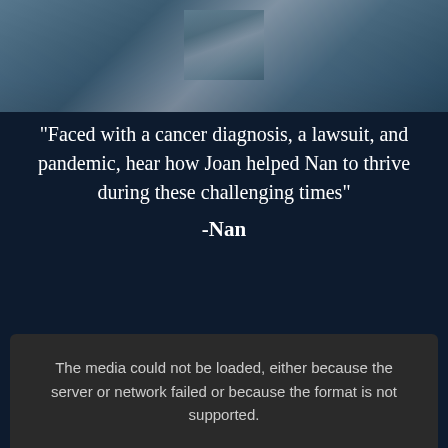[Figure (photo): Partial photo of a person wearing a patterned garment, shown from mid-torso, dark blue background overlay]
"Faced with a cancer diagnosis, a lawsuit, and pandemic, hear how Joan helped Nan to thrive during these challenging times"
-Nan
The media could not be loaded, either because the server or network failed or because the format is not supported.